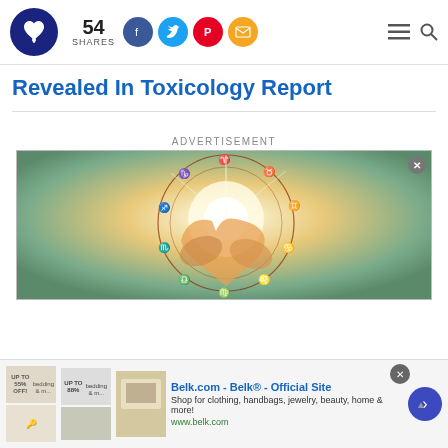54 SHARES — social share buttons, logo, menu, search
Revealed In Toxicology Report
ADVERTISEMENT
[Figure (photo): Advertisement image: two hands forming a heart shape with zodiac/astrology wheel circle overlay, glowing sunlight in background]
Belk.com - Belk® - Official Site
Shop for clothing, handbags, jewelry, beauty, home & more!
www.belk.com